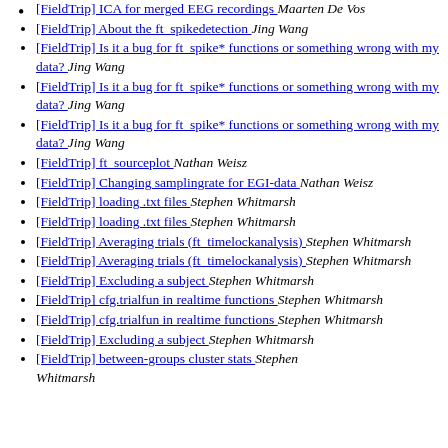[FieldTrip] ICA for merged EEG recordings  Maarten De Vos
[FieldTrip] About the ft_spikedetection  Jing Wang
[FieldTrip] Is it a bug for ft_spike* functions or something wrong with my data?  Jing Wang
[FieldTrip] Is it a bug for ft_spike* functions or something wrong with my data?  Jing Wang
[FieldTrip] Is it a bug for ft_spike* functions or something wrong with my data?  Jing Wang
[FieldTrip] ft_sourceplot  Nathan Weisz
[FieldTrip] Changing samplingrate for EGI-data  Nathan Weisz
[FieldTrip] loading .txt files  Stephen Whitmarsh
[FieldTrip] loading .txt files  Stephen Whitmarsh
[FieldTrip] Averaging trials (ft_timelockanalysis)  Stephen Whitmarsh
[FieldTrip] Averaging trials (ft_timelockanalysis)  Stephen Whitmarsh
[FieldTrip] Excluding a subject  Stephen Whitmarsh
[FieldTrip] cfg.trialfun in realtime functions  Stephen Whitmarsh
[FieldTrip] cfg.trialfun in realtime functions  Stephen Whitmarsh
[FieldTrip] Excluding a subject  Stephen Whitmarsh
[FieldTrip] between-groups cluster stats  Stephen Whitmarsh